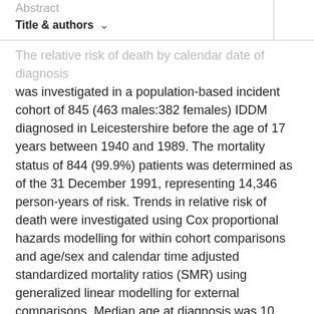Abstract | Title & authors
The relative risk of death by calendar date of diagnosis was investigated in a population-based incident cohort of 845 (463 males:382 females) IDDM diagnosed in Leicestershire before the age of 17 years between 1940 and 1989. The mortality status of 844 (99.9%) patients was determined as of the 31 December 1991, representing 14,346 person-years of risk. Trends in relative risk of death were investigated using Cox proportional hazards modelling for within cohort comparisons and age/sex and calendar time adjusted standardized mortality ratios (SMR) using generalized linear modelling for external comparisons. Median age at diagnosis was 10 years (range 3 months to 16 years); median duration of diabetes 15 years (range 1-51 years). Forty-four patients had died (5.2%; median age at death 31 years, range 11-51 years). A further four patients died at presentation (within 24 h) from ketoacidosis and are excluded from all analyses. Calendar date of diagnosis